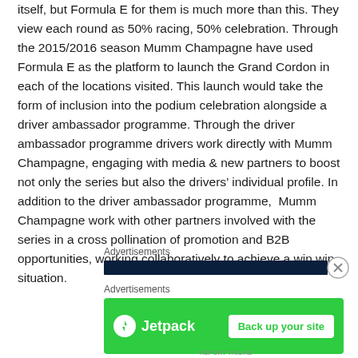itself, but Formula E for them is much more than this. They view each round as 50% racing, 50% celebration. Through the 2015/2016 season Mumm Champagne have used Formula E as the platform to launch the Grand Cordon in each of the locations visited. This launch would take the form of inclusion into the podium celebration alongside a driver ambassador programme. Through the driver ambassador programme drivers work directly with Mumm Champagne, engaging with media & new partners to boost not only the series but also the drivers' individual profile. In addition to the driver ambassador programme,  Mumm Champagne work with other partners involved with the series in a cross pollination of promotion and B2B opportunities, working collaboratively to achieve a win win situation.
Advertisements
[Figure (other): Dark navy blue advertisement bar]
[Figure (other): Close/dismiss button (circled X)]
Advertisements
[Figure (other): Jetpack advertisement banner with green background, Jetpack logo and lightning bolt icon on left, 'Back up your site' white button on right]